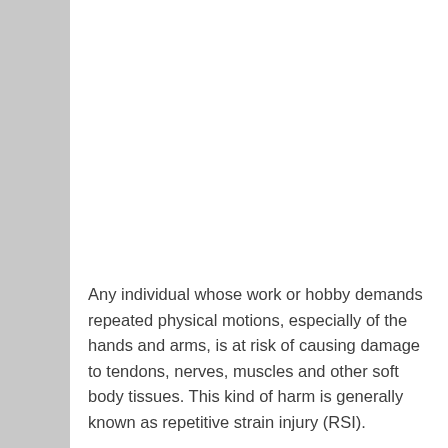Any individual whose work or hobby demands repeated physical motions, especially of the hands and arms, is at risk of causing damage to tendons, nerves, muscles and other soft body tissues. This kind of harm is generally known as repetitive strain injury (RSI).